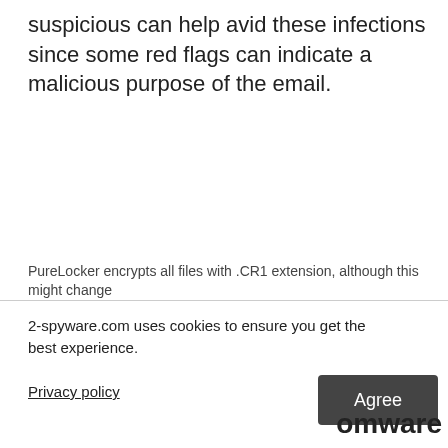suspicious can help avid these infections since some red flags can indicate a malicious purpose of the email.
PureLocker encrypts all files with .CR1 extension, although this might change
nware-as-a-service
2-spyware.com uses cookies to ensure you get the best experience.
Privacy policy
Agree
omware